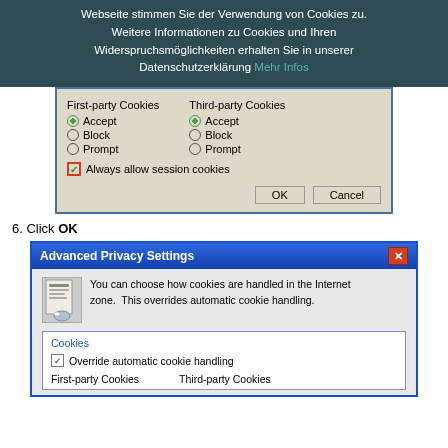Webseite stimmen Sie der Verwendung von Cookies zu. Weitere Informationen zu Cookies und Ihren Widerspruchsmöglichkeiten erhalten Sie in unserer Datenschutzerklärung Mehr Infos
[Figure (screenshot): Windows dialog box with First-party Cookies and Third-party Cookies radio buttons (Accept selected for both), and a checked checkbox for Always allow session cookies, with OK and Cancel buttons]
6. Click OK
[Figure (screenshot): Advanced Privacy Settings dialog with cookie icon, description text, Cookies group with Override automatic cookie handling checkbox checked, and First-party Cookies / Third-party Cookies column headers]